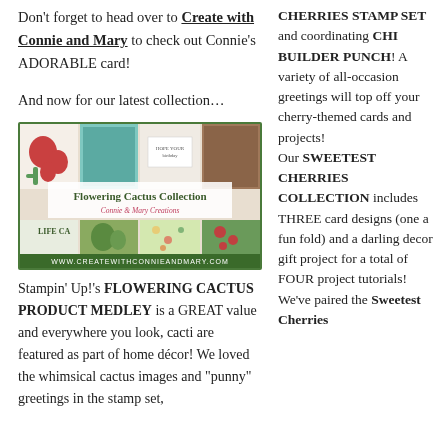Don't forget to head over to Create with Connie and Mary to check out Connie's ADORABLE card!
And now for our latest collection…
[Figure (photo): Flowering Cactus Collection banner image with multiple card examples and the text 'Flowering Cactus Collection, Connie & Mary Creations, www.createwithconnieandmary.com']
Stampin' Up!'s FLOWERING CACTUS PRODUCT MEDLEY is a GREAT value and everywhere you look, cacti are featured as part of home décor! We loved the whimsical cactus images and "punny" greetings in the stamp set,
CHERRIES STAMP SET and coordinating CHI BUILDER PUNCH! A variety of all-occasion greetings will top off your cherry-themed cards and projects! Our SWEETEST CHERRIES COLLECTION includes THREE card designs (one a fun fold) and a darling decor gift project for a total of FOUR project tutorials! We've paired the Sweetest Cherries